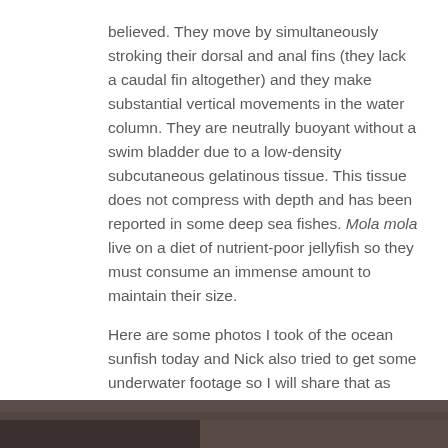believed.  They move by simultaneously stroking their dorsal and anal fins (they lack a caudal fin altogether) and they make substantial vertical movements in the water column.  They are neutrally buoyant without a swim bladder due to a low-density subcutaneous gelatinous tissue.  This tissue does not compress with depth and has been reported in some deep sea fishes.  Mola mola live on a diet of nutrient-poor jellyfish so they must consume an immense amount to maintain their size.
Here are some photos I took of the ocean sunfish today and Nick also tried to get some underwater footage so I will share that as soon as I can.
[Figure (photo): Partial view of a photo strip at the bottom of the page, showing a dark/brown outdoor scene, likely an ocean sunfish photo.]